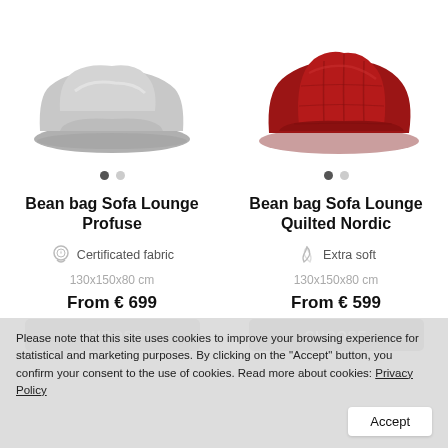[Figure (photo): Gray bean bag sofa lounge chair product photo on white background]
[Figure (photo): Red/dark red quilted bean bag sofa lounge chair product photo on white background]
Bean bag Sofa Lounge Profuse
Bean bag Sofa Lounge Quilted Nordic
Certificated fabric
Extra soft
130x150x80 cm
130x150x80 cm
From € 699
From € 599
Please note that this site uses cookies to improve your browsing experience for statistical and marketing purposes. By clicking on the "Accept" button, you confirm your consent to the use of cookies. Read more about cookies: Privacy Policy